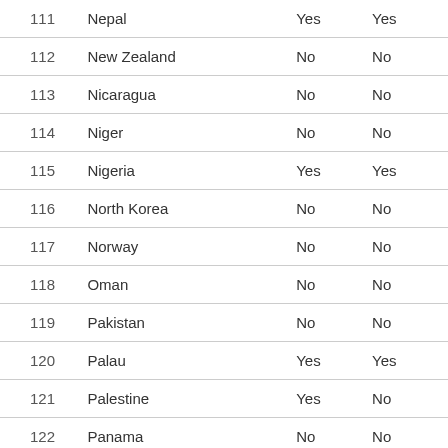|  | Country | Col1 | Col2 |
| --- | --- | --- | --- |
| 111 | Nepal | Yes | Yes |
| 112 | New Zealand | No | No |
| 113 | Nicaragua | No | No |
| 114 | Niger | No | No |
| 115 | Nigeria | Yes | Yes |
| 116 | North Korea | No | No |
| 117 | Norway | No | No |
| 118 | Oman | No | No |
| 119 | Pakistan | No | No |
| 120 | Palau | Yes | Yes |
| 121 | Palestine | Yes | No |
| 122 | Panama | No | No |
| 123 | Papua New Guinea | No | No |
| 124 | Paraguay | No | No |